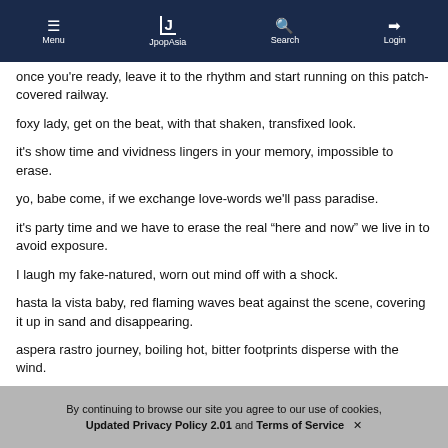Menu | JpopAsia | Search | Login
once you're ready, leave it to the rhythm and start running on this patch-covered railway.
foxy lady, get on the beat, with that shaken, transfixed look.
it's show time and vividness lingers in your memory, impossible to erase.
yo, babe come, if we exchange love-words we'll pass paradise.
it's party time and we have to erase the real “here and now” we live in to avoid exposure.
I laugh my fake-natured, worn out mind off with a shock.
hasta la vista baby, red flaming waves beat against the scene, covering it up in sand and disappearing.
aspera rastro journey, boiling hot, bitter footprints disperse with the wind.
By continuing to browse our site you agree to our use of cookies, Updated Privacy Policy 2.01 and Terms of Service ×